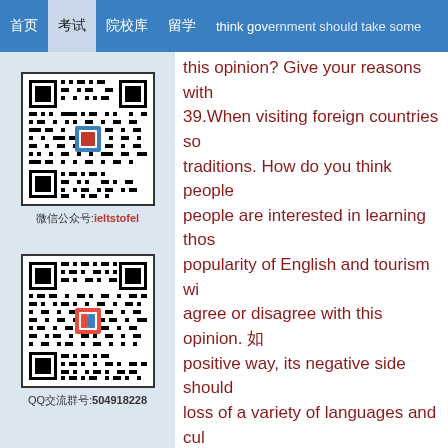Navigation bar with tabs in Chinese and partial English text: think government should take some
[Figure (other): QR code for ieltstofel WeChat account]
微信公众号:ieltstofel
[Figure (other): QR code for QQ group 504918228]
QQ交流群号:504918228
this opinion? Give your reasons with 39.When visiting foreign countries so traditions. How do you think people people are interested in learning thos popularity of English and tourism wi agree or disagree with this opinion. positive way, its negative side should loss of a variety of languages and cu
GRE写作IRP题库中介绍
1.You have just arrived in the city degree. You have a lot preparatio to go round the city. A friend you h through difficulties. Write a letter t
2.You live in a room in college whic there because your roommate always